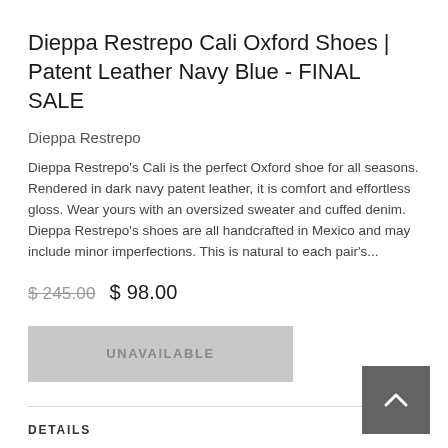Dieppa Restrepo Cali Oxford Shoes | Patent Leather Navy Blue - FINAL SALE
Dieppa Restrepo
Dieppa Restrepo's Cali is the perfect Oxford shoe for all seasons. Rendered in dark navy patent leather, it is comfort and effortless gloss. Wear yours with an oversized sweater and cuffed denim. Dieppa Restrepo's shoes are all handcrafted in Mexico and may include minor imperfections. This is natural to each pair's...
$ 245.00  $ 98.00
UNAVAILABLE
DETAILS
SHIPPING & RETURNS